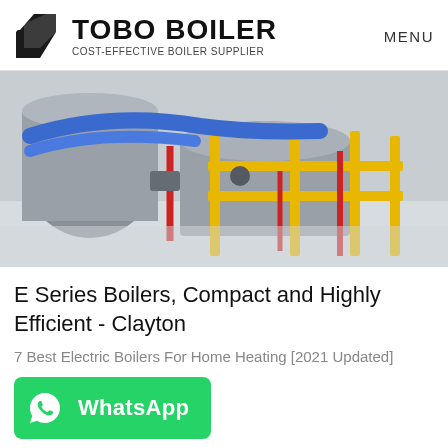TOBO BOILER — COST-EFFECTIVE BOILER SUPPLIER | MENU
[Figure (photo): Industrial boiler room with large cylindrical boilers, blue and yellow pipes and railings, red accent pipes, stainless steel equipment on white tiled floor.]
E Series Boilers, Compact and Highly Efficient - Clayton
7 Best Electric Boilers For Home Heating [2021 Updated]
[Figure (logo): WhatsApp button with speech bubble phone icon in white on green background, labeled 'WhatsApp']